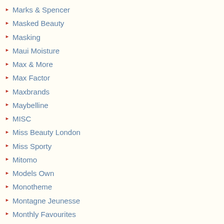Marks & Spencer
Masked Beauty
Masking
Maui Moisture
Max & More
Max Factor
Maxbrands
Maybelline
MISC
Miss Beauty London
Miss Sporty
Mitomo
Models Own
Monotheme
Montagne Jeunesse
Monthly Favourites
Morrisons
Moschino
MoYou London
MoYou Nails